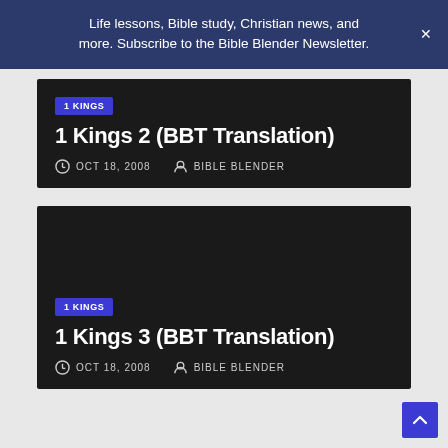Life lessons, Bible study, Christian news, and more. Subscribe to the Bible Blender Newsletter.
1 KINGS
1 Kings 2 (BBT Translation)
OCT 18, 2008   BIBLE BLENDER
1 KINGS
1 Kings 3 (BBT Translation)
OCT 18, 2008   BIBLE BLENDER